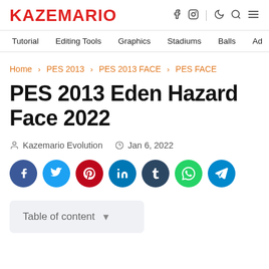KAZEMARIO
Tutorial  Editing Tools  Graphics  Stadiums  Balls  Ad
Home > PES 2013 > PES 2013 FACE > PES FACE
PES 2013 Eden Hazard Face 2022
Kazemario Evolution  Jan 6, 2022
[Figure (infographic): Social share buttons row: Facebook (dark blue), Twitter (light blue), Pinterest (red), LinkedIn (dark blue), Tumblr (dark navy), WhatsApp (green), Telegram (light blue)]
Table of content